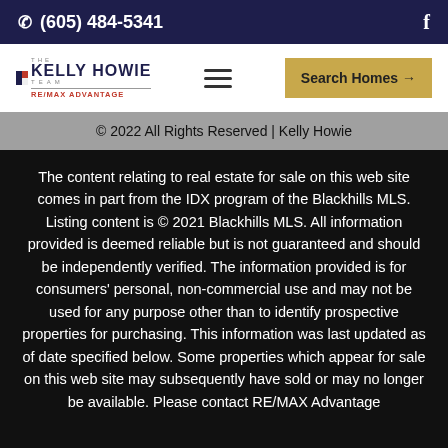☎ (605) 484-5341   f
[Figure (logo): The Kelly Howie Team RE/MAX Advantage logo with hamburger menu icon and Search Homes button]
© 2022 All Rights Reserved | Kelly Howie
The content relating to real estate for sale on this web site comes in part from the IDX program of the Blackhills MLS. Listing content is © 2021 Blackhills MLS. All information provided is deemed reliable but is not guaranteed and should be independently verified. The information provided is for consumers' personal, non-commercial use and may not be used for any purpose other than to identify prospective properties for purchasing. This information was last updated as of date specified below. Some properties which appear for sale on this web site may subsequently have sold or may no longer be available. Please contact RE/MAX Advantage